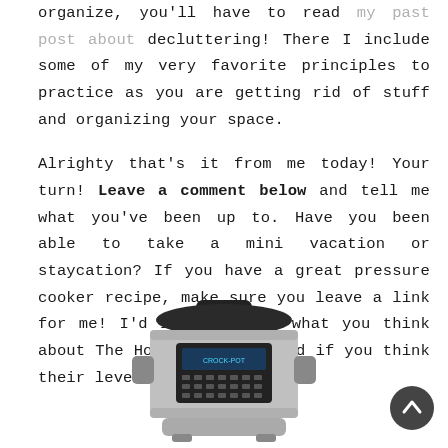organize, you'll have to read my past post about decluttering! There I include some of my very favorite principles to practice as you are getting rid of stuff and organizing your space.

Alrighty that's it from me today! Your turn! Leave a comment below and tell me what you've been up to. Have you been able to take a mini vacation or staycation? If you have a great pressure cooker recipe, make sure you leave a link for me! I'd love to here what you think about The Home Edit show and if you think their level is attainable?!
[Figure (photo): A silver and black electric pressure cooker (Crock-Pot brand) photographed on a white background.]